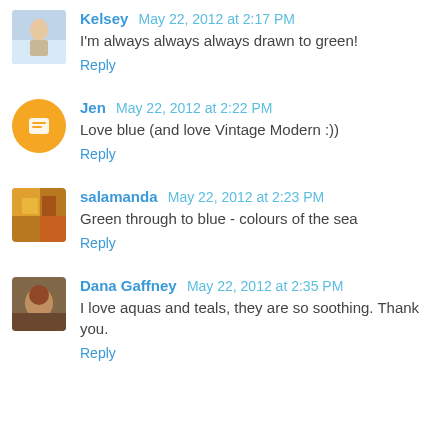Kelsey May 22, 2012 at 2:17 PM
I'm always always always drawn to green!
Reply
Jen May 22, 2012 at 2:22 PM
Love blue (and love Vintage Modern :))
Reply
salamanda May 22, 2012 at 2:23 PM
Green through to blue - colours of the sea
Reply
Dana Gaffney May 22, 2012 at 2:35 PM
I love aquas and teals, they are so soothing. Thank you.
Reply